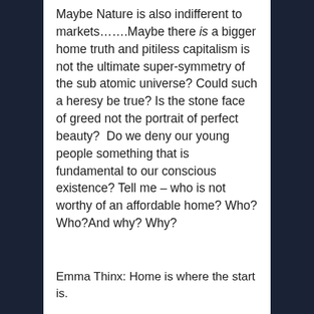Maybe Nature is also indifferent to markets…….Maybe there is a bigger home truth and pitiless capitalism is not the ultimate super-symmetry of the sub atomic universe? Could such a heresy be true? Is the stone face of greed not the portrait of perfect beauty?  Do we deny our young people something that is fundamental to our conscious existence? Tell me – who is not worthy of an affordable home? Who? Who?And why? Why?
Emma Thinx: Home is where the start is.